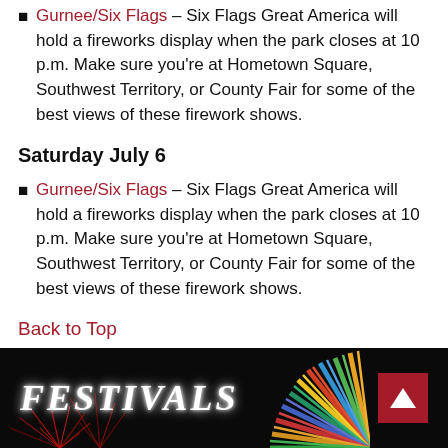Gurnee/Six Flags – Six Flags Great America will hold a fireworks display when the park closes at 10 p.m. Make sure you're at Hometown Square, Southwest Territory, or County Fair for some of the best views of these firework shows.
Saturday July 6
Gurnee/Six Flags – Six Flags Great America will hold a fireworks display when the park closes at 10 p.m. Make sure you're at Hometown Square, Southwest Territory, or County Fair for some of the best views of these firework shows.
Back to Top
[Figure (photo): Dark banner image with fireworks in background, large italic text reading FESTIVALS in white, a decorative colorful fan/firework graphic on the right, and a red box with a white up-arrow in the upper right corner.]